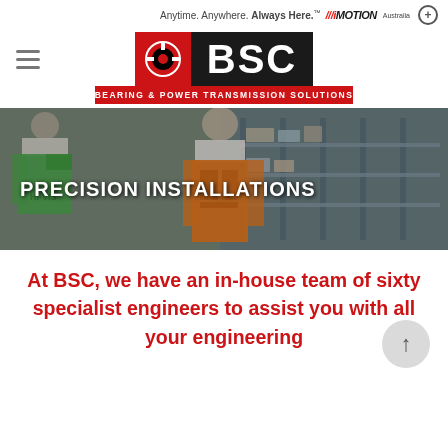Anytime. Anywhere. Always Here. iMOTION Australia +
[Figure (logo): BSC logo — Bearing & Power Transmission Solutions — red and black logo with circular icon]
[Figure (photo): Warehouse workers in hi-vis vests, one in green and one in orange, in an industrial warehouse with shelving in background. Text overlay: PRECISION INSTALLATIONS]
At BSC, we have an in-house team of sixty specialist engineers to assist you with all your engineering